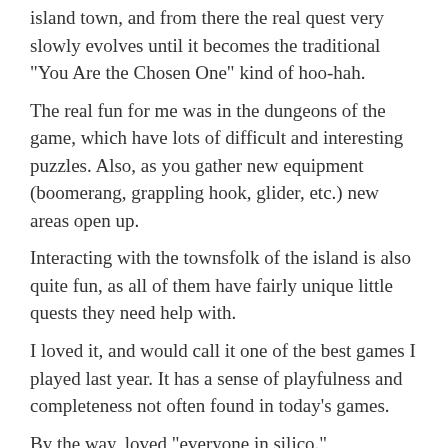island town, and from there the real quest very slowly evolves until it becomes the traditional "You Are the Chosen One" kind of hoo-hah.
The real fun for me was in the dungeons of the game, which have lots of difficult and interesting puzzles. Also, as you gather new equipment (boomerang, grappling hook, glider, etc.) new areas open up.
Interacting with the townsfolk of the island is also quite fun, as all of them have fairly unique little quests they need help with.
I loved it, and would call it one of the best games I played last year. It has a sense of playfulness and completeness not often found in today's games.
By the way, loved "everyone in silico."
Cheers,
Mj
Like
REPLY